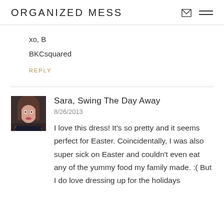ORGANIZED MESS
xo, B
BKCsquared
REPLY
Sara, Swing The Day Away
8/26/2013
I love this dress! It's so pretty and it seems perfect for Easter. Coincidentally, I was also super sick on Easter and couldn't even eat any of the yummy food my family made. :( But I do love dressing up for the holidays